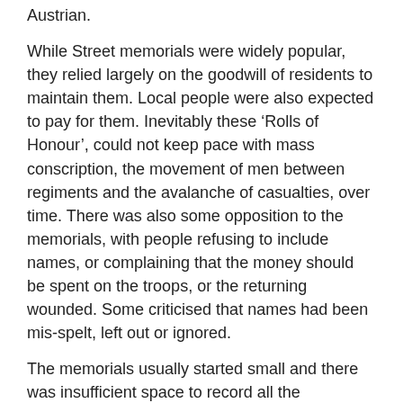Austrian.
While Street memorials were widely popular, they relied largely on the goodwill of residents to maintain them. Local people were also expected to pay for them. Inevitably these ‘Rolls of Honour’, could not keep pace with mass conscription, the movement of men between regiments and the avalanche of casualties, over time. There was also some opposition to the memorials, with people refusing to include names, or complaining that the money should be spent on the troops, or the returning wounded. Some criticised that names had been mis-spelt, left out or ignored.
The memorials usually started small and there was insufficient space to record all the casualties. For example, Hull’s Bean Street, lost at least 102 men in the War; Waterloo Street 75; Barnsley Street 59; Walker Street 52, Spyvee Street, 51; and hundreds of men died from the packed communities of Hessle Road, Beverley Road and Holderness Road.